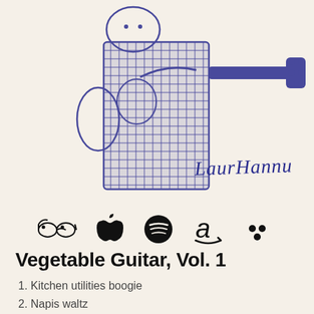[Figure (illustration): Blue ink drawing of a figure playing guitar, with crosshatch shading. Handwritten text 'Lauri Hannu' in blue ink in the lower right of the illustration.]
[Figure (infographic): Row of streaming service icons: Bandcamp (glasses), Apple Music (apple), Spotify (circle), Amazon Music (a), Tidal (dots)]
Vegetable Guitar, Vol. 1
1. Kitchen utilities boogie
2. Napis waltz